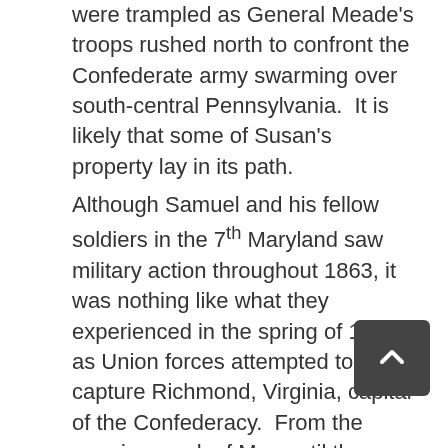were trampled as General Meade's troops rushed north to confront the Confederate army swarming over south-central Pennsylvania.  It is likely that some of Susan's property lay in its path.
Although Samuel and his fellow soldiers in the 7th Maryland saw military action throughout 1863, it was nothing like what they experienced in the spring of 1864 as Union forces attempted to capture Richmond, Virginia, capital of the Confederacy.  From the opening week of May until the beginning of June, the regiment participated in one ferocious battle after another – The Wilderness, North Anna and Cold Harbor.  Ultimately, the Seventh settled into life in the trenches outside Petersburg, Va.   Samuel Lyon survived thirty months of service apparently